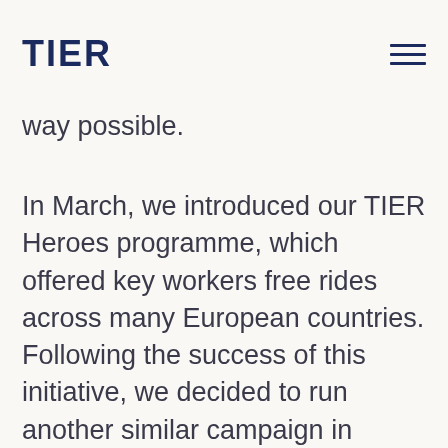TIER
way possible.
In March, we introduced our TIER Heroes programme, which offered key workers free rides across many European countries. Following the success of this initiative, we decided to run another similar campaign in Europe. So far, we have handed out half a million free minutes to our users. Given its popularity, we have now brought the campaign to the UK to show our appreciation to those on the frontline in York, where we're operating a 12-month trial. We are offering free unlocks and 400 minutes' worth of rides around designated areas of the city to those who work within emergency services and local